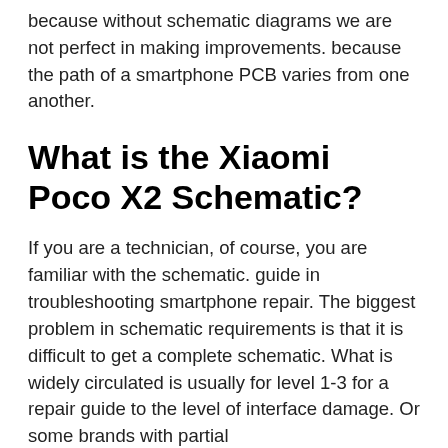because without schematic diagrams we are not perfect in making improvements. because the path of a smartphone PCB varies from one another.
What is the Xiaomi Poco X2 Schematic?
If you are a technician, of course, you are familiar with the schematic. guide in troubleshooting smartphone repair. The biggest problem in schematic requirements is that it is difficult to get a complete schematic. What is widely circulated is usually for level 1-3 for a repair guide to the level of interface damage. Or some brands with partial